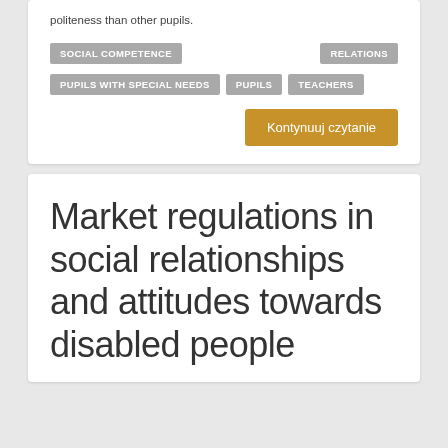politeness than other pupils.
SOCIAL COMPETENCE
RELATIONS
PUPILS WITH SPECIAL NEEDS
PUPILS
TEACHERS
Kontynuuj czytanie
Market regulations in social relationships and attitudes towards disabled people